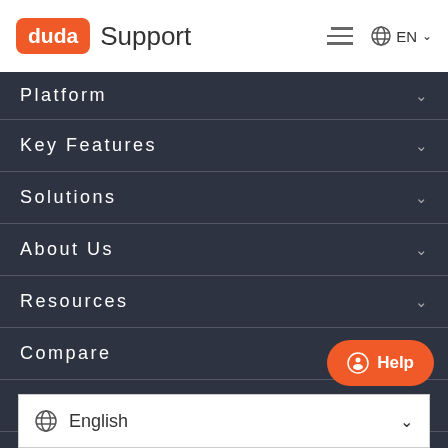duda Support
Platform
Key Features
Solutions
About Us
Resources
Compare
Support
English